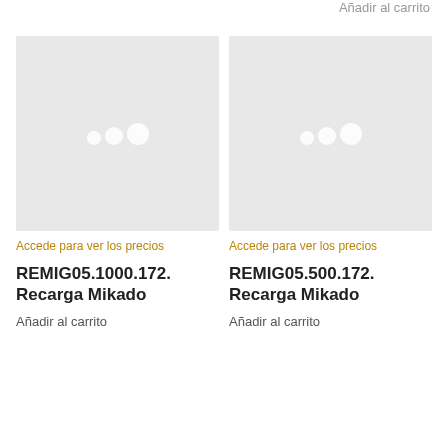Añadir al carrito
[Figure (screenshot): Product image placeholder with loading spinner dots on gray background - left card]
Accede para ver los precios
REMIG05.1000.172. Recarga Mikado
Añadir al carrito
[Figure (screenshot): Product image placeholder with loading spinner dots on gray background - right card]
Accede para ver los precios
REMIG05.500.172. Recarga Mikado
Añadir al carrito